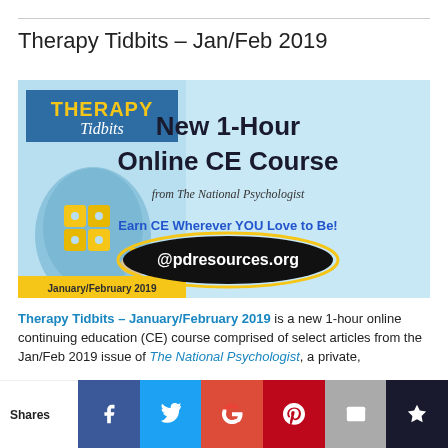Therapy Tidbits – Jan/Feb 2019
[Figure (illustration): Therapy Tidbits January/February 2019 banner advertisement. Light blue background with a silhouette of a human head containing puzzle pieces; yellow text 'THERAPY' on a blue box, italic white 'Tidbits'. Right side: large bold text 'New 1-Hour Online CE Course', italic 'from The National Psychologist', blue bold text 'Earn CE Wherever YOU Love to Be!', black oval with yellow border showing '@pdresources.org'. Bottom left yellow bar: 'January/February 2019'.]
Therapy Tidbits – January/February 2019 is a new 1-hour online continuing education (CE) course comprised of select articles from the Jan/Feb 2019 issue of The National Psychologist, a private,
Shares  [Facebook] [Twitter] [Google+] [Pinterest] [Email] [Bookmark]